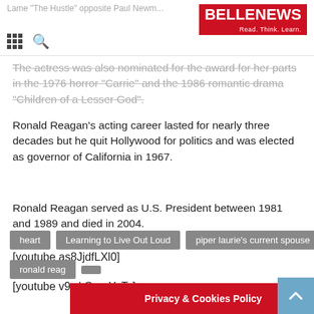BELLENEWS — Read. Think. Learn.
The actress was also nominated for the award for her parts in the 1976 horror "Carrie" and the 1986 romantic drama "Children of a Lesser God".
Ronald Reagan's acting career lasted for nearly three decades but he quit Hollywood for politics and was elected as governor of California in 1967.
Ronald Reagan served as U.S. President between 1981 and 1989 and died in 2004.
[youtube as8JjdfLXl0]
[youtube v9wkOpmYoTc]
heart   Learning to Live Out Loud   piper laurie's current spouse   ronald reag...
Privacy & Cookies Policy